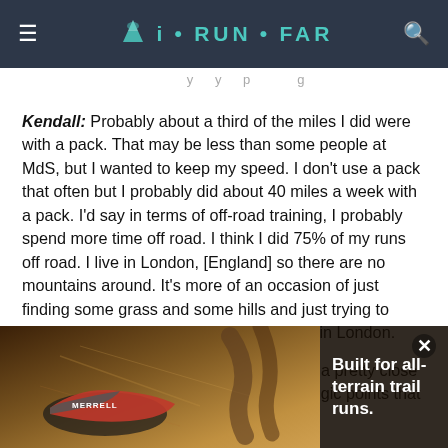iRunFar
Kendall: Probably about a third of the miles I did were with a pack. That may be less than some people at MdS, but I wanted to keep my speed. I don't use a pack that often but I probably did about 40 miles a week with a pack. I'd say in terms of off-road training, I probably spend more time off road. I think I did 75% of my runs off road. I live in London, [England] so there are no mountains around. It's more of an occasion of just finding some grass and some hills and just trying to make it as off road as possible with living in London.
iRunFar: Over the years, you've become a pretty close study of the race. When you look at strategic points that have served you
[Figure (photo): Merrell shoe advertisement with running shoes on trail terrain and tagline 'Built for all-terrain trail runs.']